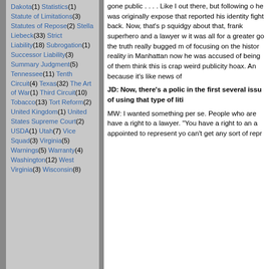Dakota(1) Statistics(1) Statute of Limitations(3) Statutes of Repose(2) Stella Liebeck(33) Strict Liability(18) Subrogation(1) Successor Liability(3) Summary Judgment(5) Tennessee(11) Tenth Circuit(4) Texas(32) The Art of War(1) Third Circuit(10) Tobacco(13) Tort Reform(2) United Kingdom(1) United States Supreme Court(2) USDA(1) Utah(7) Vice Squad(3) Virginia(5) Warnings(5) Warranty(4) Washington(12) West Virginia(3) Wisconsin(8)
gone public . . . .  Like I out there, but following o he was originally expose that reported his identity fight back.  Now, that's p squidgy about that, frank superhero and a lawyer w it was all for a greater go the truth really bugged m of focusing on the histor reality in Manhattan now he was accused of being of them think this is crap weird publicity hoax.  An because it's like news of
JD: Now, there's a polic in the first several issu of using that type of liti
MW: I wanted something per se.  People who are have a right to a lawyer. "You have a right to an a appointed to represent yo can't get any sort of repr